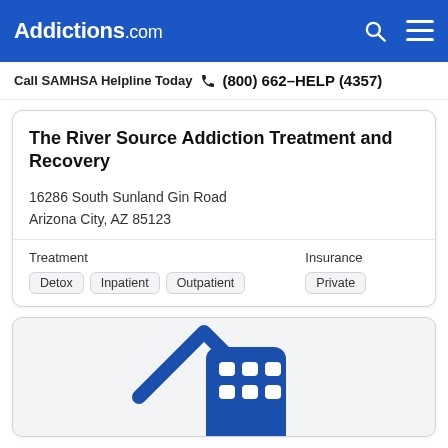Addictions.com
Call SAMHSA Helpline Today (800) 662-HELP (4357)
The River Source Addiction Treatment and Recovery
16286 South Sunland Gin Road
Arizona City, AZ 85123
Treatment
Detox  Inpatient  Outpatient
Insurance
Private
[Figure (illustration): Partial view of a blue house/building icon representing a treatment facility]